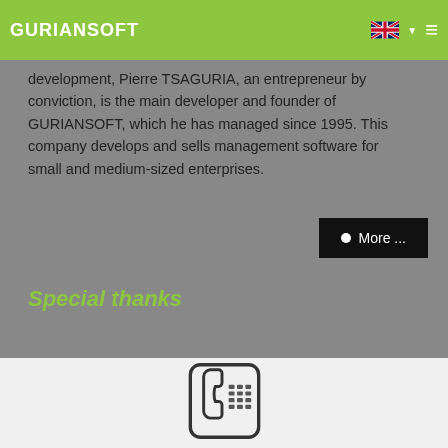GURIANSOFT
development, Pierre TSAGURIA, an entrepreneur by conviction, is the main developer and founder of GURIANSOFT, which he has managed since 1995. This company develops and sells management software for small and medium-sized enterprises.
Special thanks
[Figure (logo): Telephone/fax machine icon — a stylized desk phone with keypad inside a rounded square border]